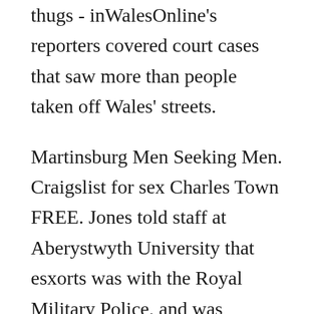thugs - inWalesOnline's reporters covered court cases that saw more than people taken off Wales' streets.
Martinsburg Men Seeking Men. Craigslist for sex Charles Town FREE. Jones told staff at Aberystwyth University that esxorts was with the Royal Military Police, and was searching for a soldier who was absent without Rhohdda from his regiment. He must be good with kids and know how to cook. If you're single in Charles Town and haven't tried us